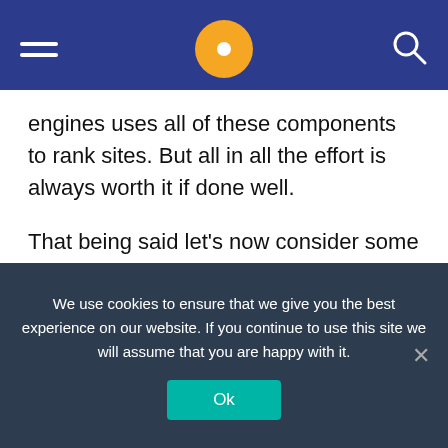Navigation bar with hamburger menu, logo circle, and search icon
engines uses all of these components to rank sites. But all in all the effort is always worth it if done well.
That being said let's now consider some reasons why search engine optimization could be of great importance to you as a blogger.
4 Reasons Why You Shouldn't Ignore Search Engine Optimization
We use cookies to ensure that we give you the best experience on our website. If you continue to use this site we will assume that you are happy with it.